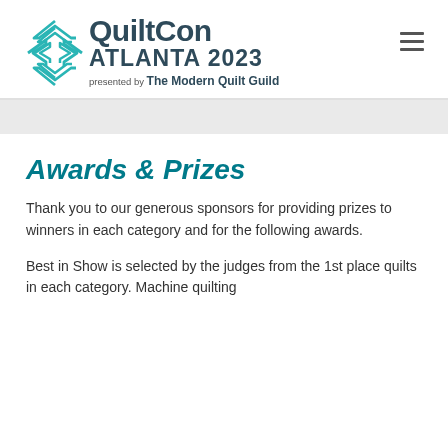[Figure (logo): QuiltCon Atlanta 2023 logo with teal geometric X/chevron pattern icon and bold dark text reading QuiltCon ATLANTA 2023, presented by The Modern Quilt Guild]
Awards & Prizes
Thank you to our generous sponsors for providing prizes to winners in each category and for the following awards.
Best in Show is selected by the judges from the 1st place quilts in each category. Machine quilting